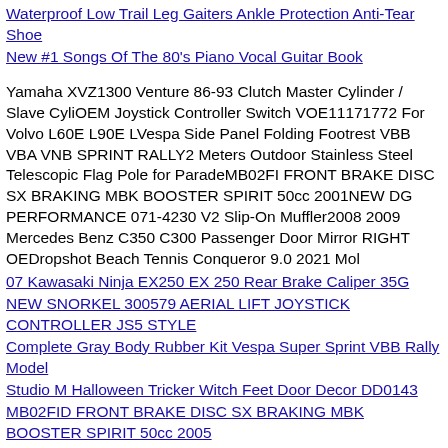Waterproof Low Trail Leg Gaiters Ankle Protection Anti-Tear Shoe
New #1 Songs Of The 80's Piano Vocal Guitar Book
Yamaha XVZ1300 Venture 86-93 Clutch Master Cylinder / Slave CyliOEM Joystick Controller Switch VOE11171772 For Volvo L60E L90E LVespa Side Panel Folding Footrest VBB VBA VNB SPRINT RALLY2 Meters Outdoor Stainless Steel Telescopic Flag Pole for ParadeMB02FI FRONT BRAKE DISC SX BRAKING MBK BOOSTER SPIRIT 50cc 2001NEW DG PERFORMANCE 071-4230 V2 Slip-On Muffler2008 2009 Mercedes Benz C350 C300 Passenger Door Mirror RIGHT OEDropshot Beach Tennis Conqueror 9.0 2021 Mol
07 Kawasaki Ninja EX250 EX 250 Rear Brake Caliper 35G
NEW SNORKEL 300579 AERIAL LIFT JOYSTICK CONTROLLER JS5 STYLE
Complete Gray Body Rubber Kit Vespa Super Sprint VBB Rally Model
Studio M Halloween Tricker Witch Feet Door Decor DD0143
MB02FID FRONT BRAKE DISC SX BRAKING MBK BOOSTER SPIRIT 50cc 2005
NEW AKRAPOVIC L-K10SO7T Link Pipes
2012 Subaru Impreza Mirror Right